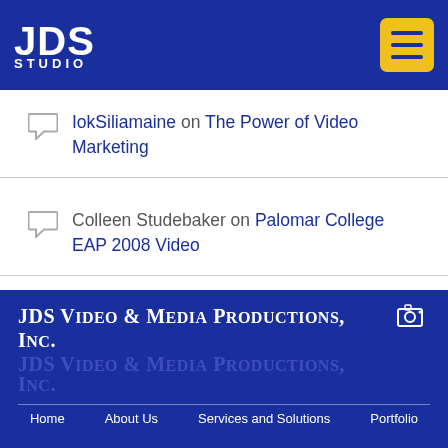JDS STUDIO
IokSiliamaine on The Power of Video Marketing
Colleen Studebaker on Palomar College EAP 2008 Video
JDS Video & Media Productions, Inc.
Home  About Us  Services and Solutions  Portfolio